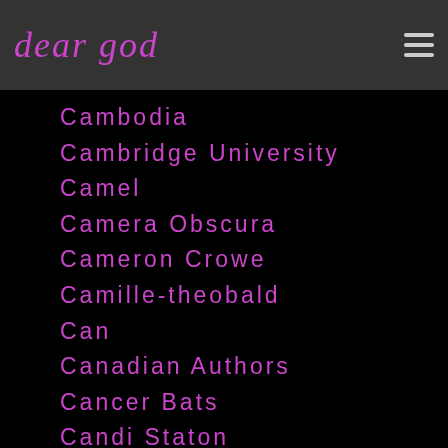dear god
Cambodia
Cambridge University
Camel
Camera Obscura
Cameron Crowe
Camille-theobald
Can
Canadian Authors
Cancer Bats
Candi Staton
Candy Claws
Cannibal-house
Capitalism
Cappadonna
Captain Beefheart
Captain-beyond
Captain Sensible